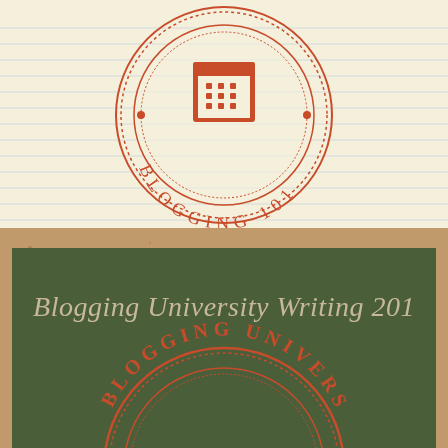[Figure (logo): Blogging 101 badge/seal with calendar icon, circular design with dashed border, rust/orange color on lined notebook paper background]
[Figure (logo): Blogging University Writing 201 chalkboard design with partial circular university seal at bottom, on cork board background]